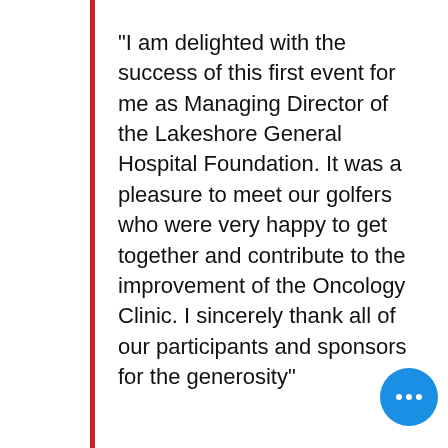“I am delighted with the success of this first event for me as Managing Director of the Lakeshore General Hospital Foundation. It was a pleasure to meet our golfers who were very happy to get together and contribute to the improvement of the Oncology Clinic. I sincerely thank all of our participants and sponsors for the generosity”